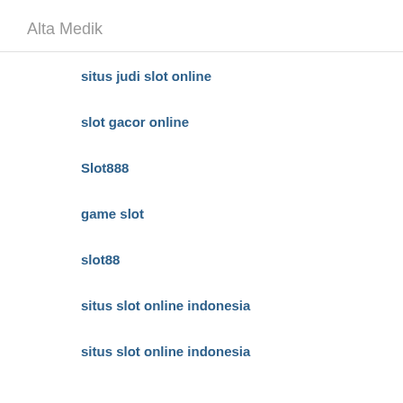Alta Medik
situs judi slot online
slot gacor online
Slot888
game slot
slot88
situs slot online indonesia
situs slot online indonesia